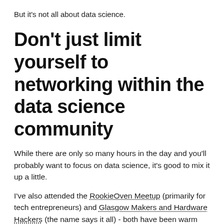But it's not all about data science.
Don't just limit yourself to networking within the data science community
While there are only so many hours in the day and you'll probably want to focus on data science, it's good to mix it up a little.
I've also attended the RookieOven Meetup (primarily for tech entrepreneurs) and Glasgow Makers and Hardware Hackers (the name says it all) - both have been warm and welcoming.